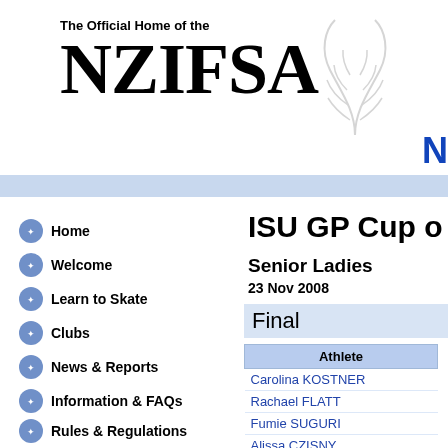The Official Home of the NZIFSA
Home
Welcome
Learn to Skate
Clubs
News & Reports
Information & FAQs
Rules & Regulations
Forms
Members' Area
Members' Forums
Coaches
ISU GP Cup of
Senior Ladies
23 Nov 2008
Final
| Athlete |
| --- |
| Carolina KOSTNER |
| Rachael FLATT |
| Fumie SUGURI |
| Alissa CZISNY |
| Alena LEONOVA |
| Elena GLEBOVA |
| Julia SEBESTYEN |
| Kimmie MEISSNER |